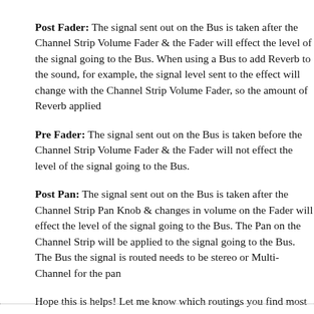Post Fader: The signal sent out on the Bus is taken after the Ch... the Fader will effect the level of the signal going to the Bus. W... Reverb to the sound, for example, the signal level sent to the e... Channel Strip Volume Fader, so the amount of Reverb applied...
Pre Fader: The signal sent out on the Bus is taken before the C... the Fader will not effect the level of the signal going to the Bu...
Post Pan: The signal sent out on the Bus is taken after the Cha... changes in volume on the Fader will effect the level of the sigr... on the Channel Strip will be applied to the signal going to the B... signal is routed needs to be stereo or Multi-Channel for the par...
Hope this is helps! Let me know which routings you find most...
Marlowe